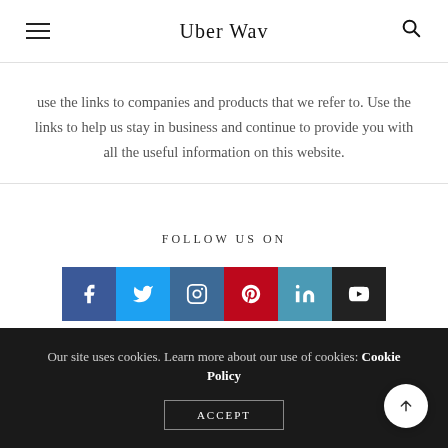Uber Wav
use the links to companies and products that we refer to. Use the links to help us stay in business and continue to provide you with all the useful information on this website.
FOLLOW US ON
[Figure (infographic): Social media icons: Facebook (dark blue), Twitter (light blue), Instagram (dark blue-grey), Pinterest (dark red), LinkedIn (teal-blue), YouTube (black)]
Our site uses cookies. Learn more about our use of cookies: Cookie Policy
ACCEPT